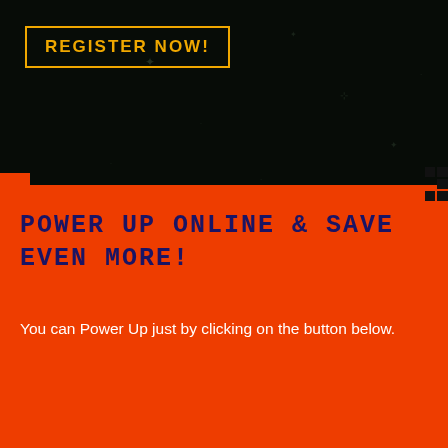REGISTER NOW!
POWER UP ONLINE & SAVE EVEN MORE!
You can Power Up just by clicking on the button below.
We use cookies on our website to give you the most relevant experience by remembering your preferences and repeat visits. By clicking "Accept", you consent to the use of ALL the cookies.
ACCEPT